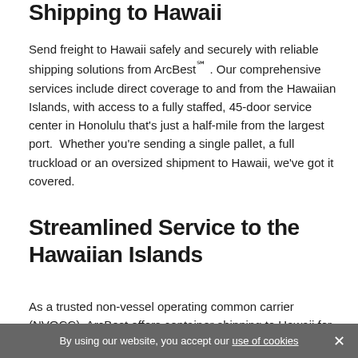Shipping to Hawaii
Send freight to Hawaii safely and securely with reliable shipping solutions from ArcBest℠ . Our comprehensive services include direct coverage to and from the Hawaiian Islands, with access to a fully staffed, 45-door service center in Honolulu that's just a half-mile from the largest port.  Whether you're sending a single pallet, a full truckload or an oversized shipment to Hawaii, we've got it covered.
Streamlined Service to the Hawaiian Islands
As a trusted non-vessel operating common carrier (NVOCC), ArcBest offers container shipping to Hawaii for less-than-container-load (LCL) and full
By using our website, you accept our use of cookies ×